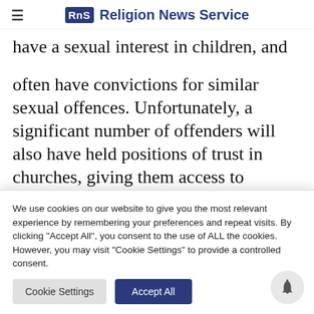Religion News Service
have a sexual interest in children, and they often have convictions for similar sexual offences. Unfortunately, a significant number of offenders will also have held positions of trust in churches, giving them access to children.
Recently, I learned about a pastor of a large
We use cookies on our website to give you the most relevant experience by remembering your preferences and repeat visits. By clicking "Accept All", you consent to the use of ALL the cookies. However, you may visit "Cookie Settings" to provide a controlled consent.